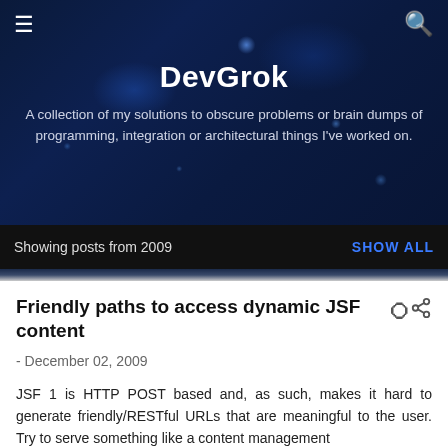[Figure (screenshot): Dark blue bokeh/light-streak header background for DevGrok blog]
DevGrok
A collection of my solutions to obscure problems or brain dumps of programming, integration or architectural things I've worked on.
Showing posts from 2009   SHOW ALL
Friendly paths to access dynamic JSF content
- December 02, 2009
JSF 1 is HTTP POST based and, as such, makes it hard to generate friendly/RESTful URLs that are meaningful to the user. Try to serve something like a content management